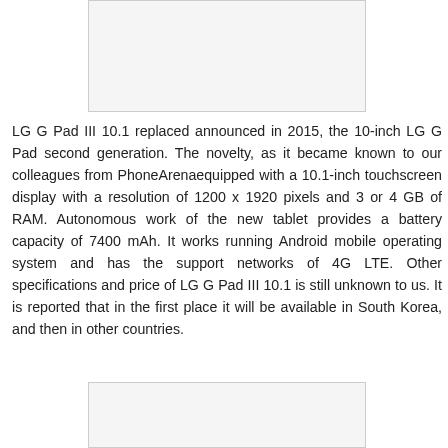[Figure (photo): Top image placeholder area]
LG G Pad III 10.1 replaced announced in 2015, the 10-inch LG G Pad second generation. The novelty, as it became known to our colleagues from PhoneArenaequipped with a 10.1-inch touchscreen display with a resolution of 1200 x 1920 pixels and 3 or 4 GB of RAM. Autonomous work of the new tablet provides a battery capacity of 7400 mAh. It works running Android mobile operating system and has the support networks of 4G LTE. Other specifications and price of LG G Pad III 10.1 is still unknown to us. It is reported that in the first place it will be available in South Korea, and then in other countries.
[Figure (photo): Bottom image placeholder area]